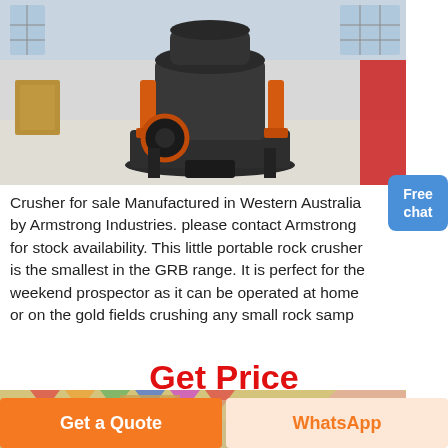[Figure (photo): Industrial cone crusher machine, dark gray metal body with orange hydraulic cylinders, displayed in a large warehouse/factory interior with glass walls and bright lighting. Red decorative backdrop visible on right side.]
Crusher for sale Manufactured in Western Australia by Armstrong Industries. please contact Armstrong for stock availability. This little portable rock crusher is the smallest in the GRB range. It is perfect for the weekend prospector as it can be operated at home or on the gold fields crushing any small rock samp
Get Price
[Figure (photo): Partial view of another crusher or industrial machine in a decorated hall with colorful bunting/flags visible.]
Get a Quote
WhatsApp